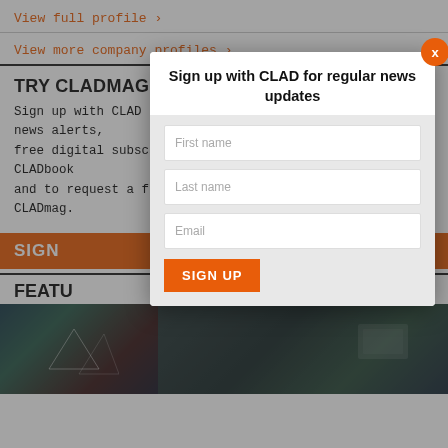View full profile >
View more company profiles >
TRY CLADMAG FOR FREE!
Sign up with CLAD to receive our regular ezine, instant news alerts, free digital subscriptions to CLADweek, CLADmag and CLADbook and to request a free sample of the next issue of CLADmag.
SIGN
FEATU
[Figure (screenshot): Modal popup overlay with a sign up form for CLAD news updates. Contains fields for First name, Last name, Email and a SIGN UP button. Has an orange close X button in top right corner.]
[Figure (photo): Dark abstract geometric background image, two panels side by side]